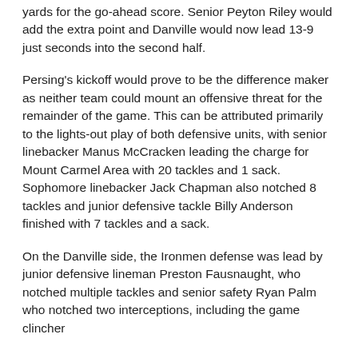yards for the go-ahead score. Senior Peyton Riley would add the extra point and Danville would now lead 13-9 just seconds into the second half.
Persing's kickoff would prove to be the difference maker as neither team could mount an offensive threat for the remainder of the game. This can be attributed primarily to the lights-out play of both defensive units, with senior linebacker Manus McCracken leading the charge for Mount Carmel Area with 20 tackles and 1 sack. Sophomore linebacker Jack Chapman also notched 8 tackles and junior defensive tackle Billy Anderson finished with 7 tackles and a sack.
On the Danville side, the Ironmen defense was lead by junior defensive lineman Preston Fausnaught, who notched multiple tackles and senior safety Ryan Palm who notched two interceptions, including the game clincher